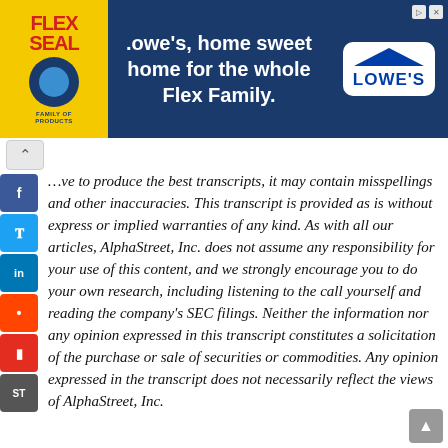[Figure (screenshot): Advertisement banner for Flex Seal and Lowe's: 'Lowe's, home sweet home for the whole Flex Family.']
…ve to produce the best transcripts, it may contain misspellings and other inaccuracies. This transcript is provided as is without express or implied warranties of any kind. As with all our articles, AlphaStreet, Inc. does not assume any responsibility for your use of this content, and we strongly encourage you to do your own research, including listening to the call yourself and reading the company's SEC filings. Neither the information nor any opinion expressed in this transcript constitutes a solicitation of the purchase or sale of securities or commodities. Any opinion expressed in the transcript does not necessarily reflect the views of AlphaStreet, Inc.